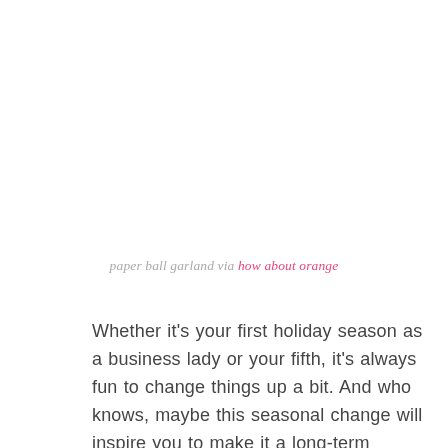paper ball garland via how about orange
Whether it's your first holiday season as a business lady or your fifth, it's always fun to change things up a bit. And who knows, maybe this seasonal change will inspire you to make it a long-term change! Before October ends I want to